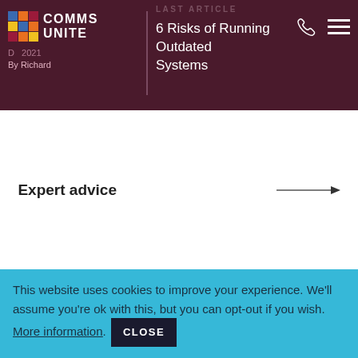LAST ARTICLE | 6 Risks of Running Outdated Systems | By Richard
Expert advice →
NEXT ARTICLE
January 19, 2022 | By Richard | How Outsourced Server Support Can Help Your Business
This website uses cookies to improve your experience. We'll assume you're ok with this, but you can opt-out if you wish. More information. CLOSE